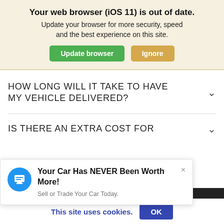Your web browser (iOS 11) is out of date. Update your browser for more security, speed and the best experience on this site. [Update browser] [Ignore]
HOW LONG WILL IT TAKE TO HAVE MY VEHICLE DELIVERED?
IS THERE AN EXTRA COST FOR
[Figure (screenshot): Ad popup with chat icon, headline 'Your Car Has NEVER Been Worth More!', subtext 'Sell or Trade Your Car Today.' and a close button.]
This site uses cookies. OK